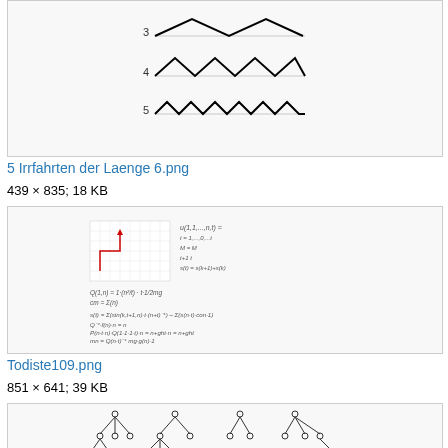[Figure (illustration): Zigzag wave patterns labeled 3, 4, 5 showing progressively more peaks in each row]
5 Irrfahrten der Laenge 6.png
439 × 835; 18 KB
[Figure (illustration): Handwritten mathematical notes with a small graph in upper left showing grid with a red path, surrounded by handwritten formulas and equations]
Todiste109.png
851 × 641; 39 KB
[Figure (illustration): Tree graph diagrams showing branching structures with small circles at nodes]